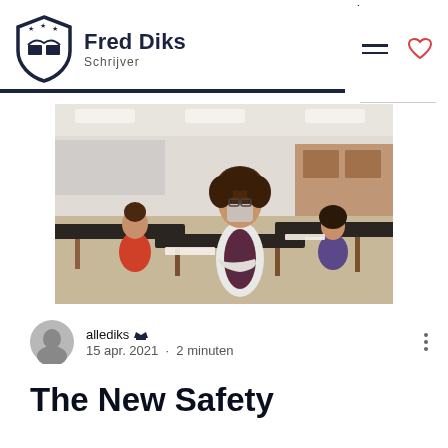Fred Diks Schrijver
[Figure (photo): A teacher wearing a face mask stands with arms crossed in a classroom while masked students work at their desks in the background.]
allediks · 15 apr. 2021 · 2 minuten
The New Safety